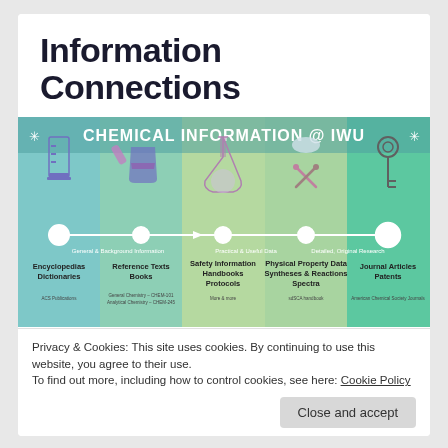Information Connections
[Figure (infographic): Chemical Information @ IWU infographic showing a timeline from General & Background Information to Practical & Useful Data to Detailed, Original Research, with 5 columns: Encyclopedias/Dictionaries, Reference Texts/Books, Safety Information/Handbooks/Protocols, Physical Property Data/Syntheses & Reactions/Spectra, Journal Articles/Patents. Each column has a chemical lab icon above it.]
Privacy & Cookies: This site uses cookies. By continuing to use this website, you agree to their use.
To find out more, including how to control cookies, see here: Cookie Policy
Close and accept